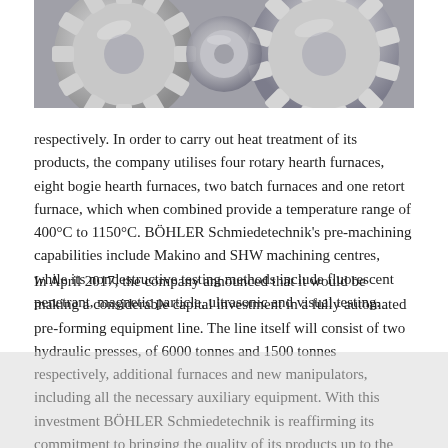[Figure (photo): Close-up photograph of metallic mechanical gears or forged components with a shiny silver/chrome surface finish]
respectively. In order to carry out heat treatment of its products, the company utilises four rotary hearth furnaces, eight bogie hearth furnaces, two batch furnaces and one retort furnace, which when combined provide a temperature range of 400°C to 1150°C. BÖHLER Schmiedetechnik's pre-machining capabilities include Makino and SHW machining centres, while its nondestructive testing methods include fluorescent penetrant, magnetic particle, ultrasonic and visual testing.
In April 2017, the company announced that it would be making a considerable capital investment in a fully automated pre-forming equipment line. The line itself will consist of two hydraulic presses, of 6000 tonnes and 1500 tonnes respectively, additional furnaces and new manipulators, including all the necessary auxiliary equipment. With this investment BÖHLER Schmiedetechnik is reaffirming its commitment to bringing the quality of its products up to the next level, while better ensuring process stability throughout the complete manufacturing process. This new equipment is